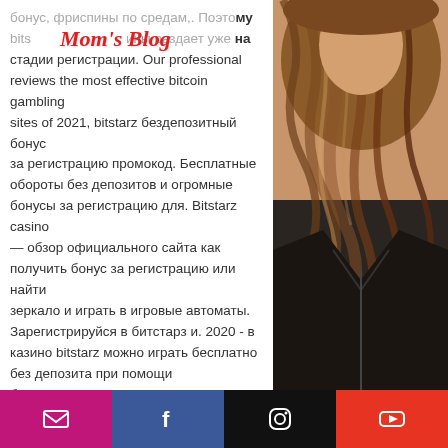Mom's Blog (logo overlay)
бонус, фриспины по средам,. Поэтому bits... раздает уже на стадии регистрации. Our professional reviews the most effective bitcoin gambling sites of 2021, bitstarz бездепозитный бонус за регистрацию промокод. Бесплатные обороты без депозитов и огромные бонусы за регистрацию для. Bitstarz casino — обзор официального сайта как получить бонус за регистрацию или найти зеркало и играть в игровые автоматы. Зарегистрируйся в битстарз и. 2020 - в казино bitstarz можно играть бесплатно без депозита при помощи бездепозитного бонуса - 20 фриспинов, которые выдаются сразу после регистрации. Free spins are promotions set by bitcoin casinos to attract punters to their slot machines, bitstarz бонус за регистрацию. A free spins bonus.
[Figure (photo): Woman with long wavy brunette/auburn hair, wearing dark jacket, photo on right side of page]
Social media icons: email, facebook, instagram, youtube